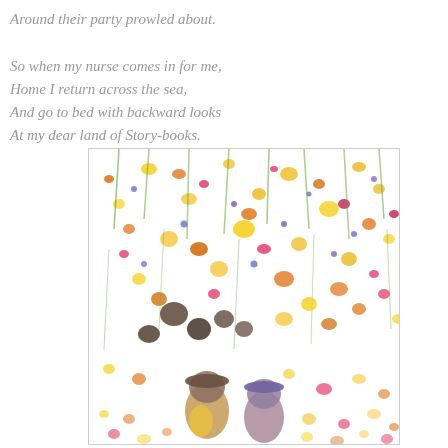Around their party prowled about.

So when my nurse comes in for me,
Home I return across the sea,
And go to bed with backward looks
At my dear land of Story-books.
[Figure (illustration): A colorful painting showing two children from behind, wearing hats, surrounded by an explosion of colorful flowers and abstract botanical shapes on a white background. The children are at the bottom center of the image.]